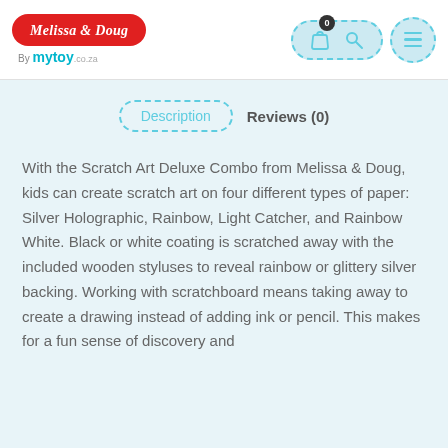[Figure (logo): Melissa & Doug by mytoy.co.za logo in top left header area]
[Figure (screenshot): Navigation header icons: cart pill with 0 badge, search icon, hamburger menu icon]
Description   Reviews (0)
With the Scratch Art Deluxe Combo from Melissa & Doug, kids can create scratch art on four different types of paper: Silver Holographic, Rainbow, Light Catcher, and Rainbow White. Black or white coating is scratched away with the included wooden styluses to reveal rainbow or glittery silver backing. Working with scratchboard means taking away to create a drawing instead of adding ink or pencil. This makes for a fun sense of discovery and